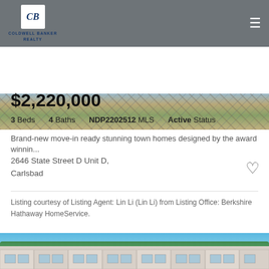[Figure (photo): Coldwell Banker Realty logo and navigation header bar on gray background]
[Figure (photo): Aerial view photo strip of the property area]
$2,220,000
3 Beds · 4 Baths · NDP2202512 MLS · Active Status
Brand-new move-in ready stunning town homes designed by the award winnin...
2646 State Street D Unit D,
Carlsbad
Listing courtesy of Listing Agent: Lin Li (Lin Li) from Listing Office: Berkshire Hathaway HomeService.
[Figure (photo): Aerial photo of modern white townhomes in Carlsbad with ocean view in background, palm trees and blue sky visible]